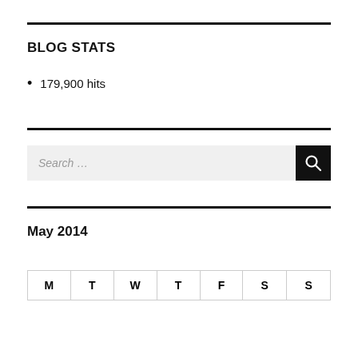BLOG STATS
179,900 hits
[Figure (other): Search input box with placeholder 'Search ...' and a black search button with magnifying glass icon]
May 2014
| M | T | W | T | F | S | S |
| --- | --- | --- | --- | --- | --- | --- |